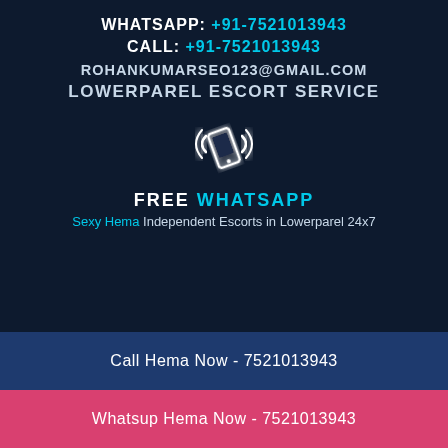WHATSAPP: +91-7521013943
CALL: +91-7521013943
ROHANKUMARSEO123@GMAIL.COM
LOWERPAREL ESCORT SERVICE
[Figure (illustration): Glowing white mobile phone icon with signal waves]
FREE WHATSAPP
Sexy Hema Independent Escorts in Lowerparel 24x7
[Figure (other): Black card box with border reading Sexy Hema Escort Service]
Call Hema Now - 7521013943
Whatsup Hema Now - 7521013943